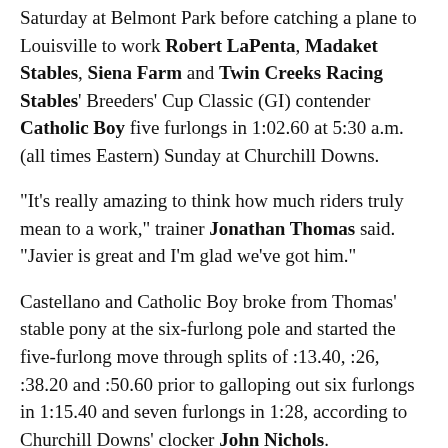Saturday at Belmont Park before catching a plane to Louisville to work Robert LaPenta, Madaket Stables, Siena Farm and Twin Creeks Racing Stables' Breeders' Cup Classic (GI) contender Catholic Boy five furlongs in 1:02.60 at 5:30 a.m. (all times Eastern) Sunday at Churchill Downs.
"It's really amazing to think how much riders truly mean to a work," trainer Jonathan Thomas said. "Javier is great and I'm glad we've got him."
Castellano and Catholic Boy broke from Thomas' stable pony at the six-furlong pole and started the five-furlong move through splits of :13.40, :26, :38.20 and :50.60 prior to galloping out six furlongs in 1:15.40 and seven furlongs in 1:28, according to Churchill Downs' clocker John Nichols.
"I thought everything went really well," Thomas said. "He broke off kindly from the pony. He started the work slowly but really picked it up from there. It was more of